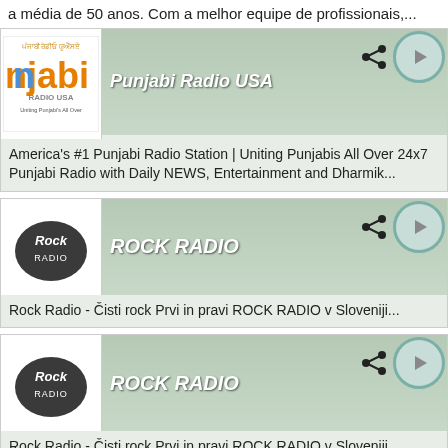a média de 50 anos. Com a melhor equipe de profissionais,...
Punjabi Radio USA
America's #1 Punjabi Radio Station | Uniting Punjabis All Over 24x7 Punjabi Radio with Daily NEWS, Entertainment and Dharmik...
ROCK RADIO
Rock Radio - Čisti rock Prvi in pravi ROCK RADIO v Sloveniji...
ROCK RADIO
Rock Radio - Čisti rock Prvi in pravi ROCK RADIO v Sloveniji...
Sabras Radio
Your No.1 Hit Asian Music Station The Midlands biggest Asian radio station on: 1260AM (Midlands) DAB digital radio (Leicester) ... SabrasRadio.com Mobile app Whatsapp : 07564...